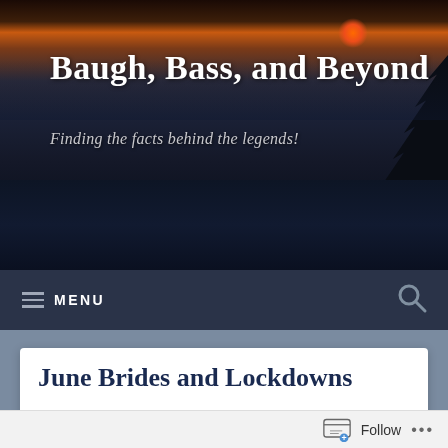Baugh, Bass, and Beyond — Finding the facts behind the legends!
June Brides and Lockdowns
[Figure (photo): Three-panel image strip: left panel shows an old handwritten document/vital record, center panel shows a bride in white dress and veil, right panel shows a Victorian-era portrait of a young woman with dark hair]
f Vital Record...
Follow ...